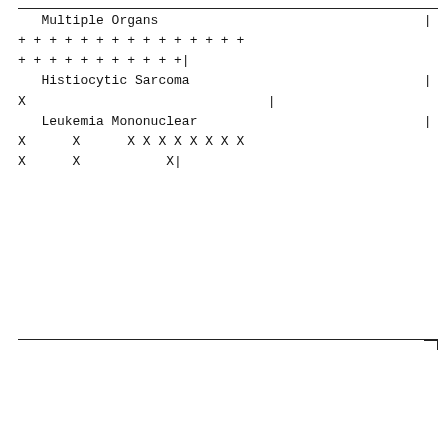Multiple Organs                                             |
+ + + + + + + + + + + + + + +
+ + + + + + + + + + +|
    Histiocytic Sarcoma                                      |
X                                    |
    Leukemia Mononuclear                                     |
X       X       X X X X X X X X
X       X           X|